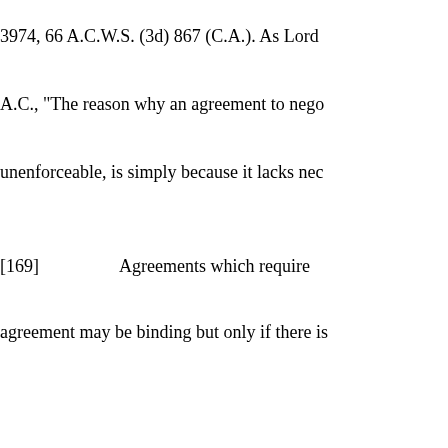3974, 66 A.C.W.S. (3d) 867 (C.A.). As Lord
A.C., "The reason why an agreement to nego
unenforceable, is simply because it lacks nec
[169]               Agreements which require
agreement may be binding but only if there is